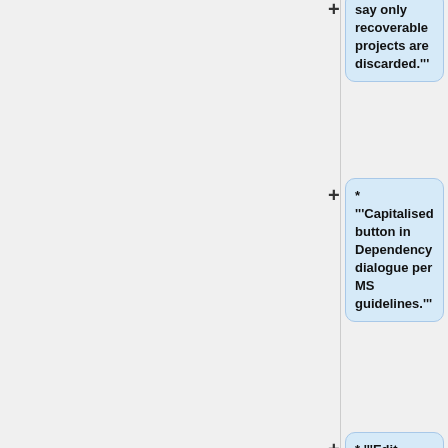* '''Capitalised button in Dependency dialogue per MS guidelines.'''
* '''Edit Metadata Tags''' dialog always titled as that, even when exporting.
* '''Tracks Preferences:''' Changed "Select all audio in project, if none selected" to clearer "Select then act on entire project, if no region selected".